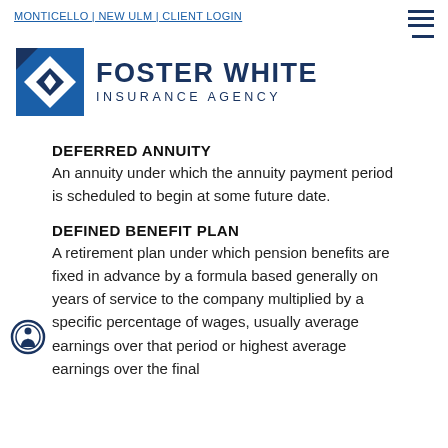MONTICELLO | NEW ULM | CLIENT LOGIN
[Figure (logo): Foster White Insurance Agency logo with blue geometric square icon and dark navy text reading FOSTER WHITE INSURANCE AGENCY]
DEFERRED ANNUITY
An annuity under which the annuity payment period is scheduled to begin at some future date.
DEFINED BENEFIT PLAN
A retirement plan under which pension benefits are fixed in advance by a formula based generally on years of service to the company multiplied by a specific percentage of wages, usually average earnings over that period or highest average earnings over the final